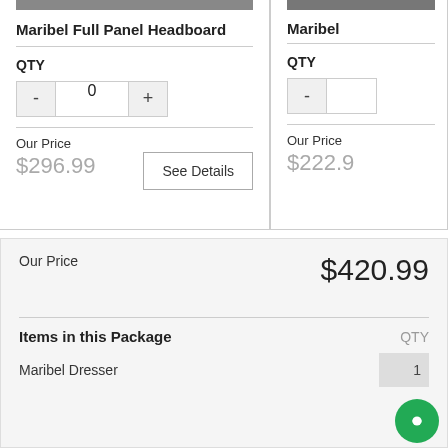Maribel Full Panel Headboard
QTY
Our Price
$296.99
See Details
Maribel
QTY
Our Price
$222.9
Our Price
$420.99
Items in this Package
QTY
Maribel Dresser
1